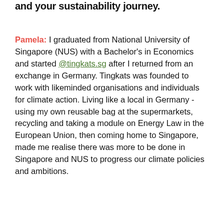and your sustainability journey.
Pamela: I graduated from National University of Singapore (NUS) with a Bachelor's in Economics and started @tingkats.sg after I returned from an exchange in Germany. Tingkats was founded to work with likeminded organisations and individuals for climate action. Living like a local in Germany - using my own reusable bag at the supermarkets, recycling and taking a module on Energy Law in the European Union, then coming home to Singapore, made me realise there was more to be done in Singapore and NUS to progress our climate policies and ambitions.